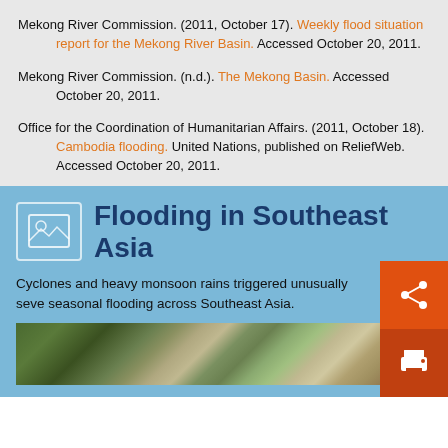Mekong River Commission. (2011, October 17). Weekly flood situation report for the Mekong River Basin. Accessed October 20, 2011.
Mekong River Commission. (n.d.). The Mekong Basin. Accessed October 20, 2011.
Office for the Coordination of Humanitarian Affairs. (2011, October 18). Cambodia flooding. United Nations, published on ReliefWeb. Accessed October 20, 2011.
Flooding in Southeast Asia
Cyclones and heavy monsoon rains triggered unusually severe seasonal flooding across Southeast Asia.
[Figure (photo): Satellite aerial photograph showing flooded landscape in Southeast Asia with fields, roads, and settlements visible.]